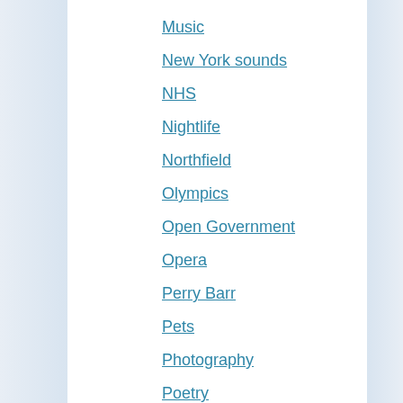Music
New York sounds
NHS
Nightlife
Northfield
Olympics
Open Government
Opera
Perry Barr
Pets
Photography
Poetry
Police
Politics
Property Press
Racing